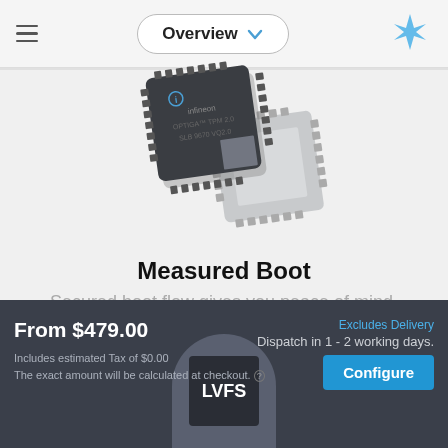Overview
[Figure (photo): Infineon TPM 2.0 chip (SLB 9670 VQ2.0) shown as two stacked integrated circuit components with QFN packages, one face-up showing the Infineon logo and part number, one face-down showing solder pads]
Measured Boot
Secured boot flow gives you peace of mind.
From $479.00
Includes estimated Tax of $0.00
The exact amount will be calculated at checkout.
Excludes Delivery
Dispatch in 1 - 2 working days.
Configure